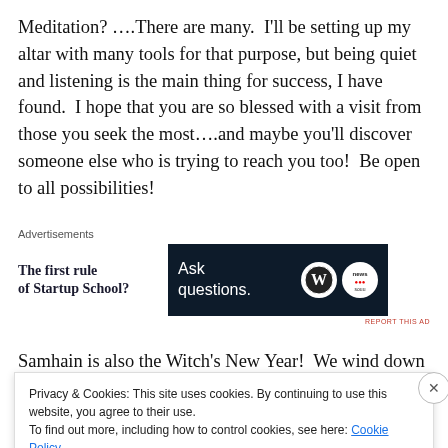Meditation? ….There are many.  I'll be setting up my altar with many tools for that purpose, but being quiet and listening is the main thing for success, I have found.  I hope that you are so blessed with a visit from those you seek the most….and maybe you'll discover someone else who is trying to reach you too!  Be open to all possibilities!
[Figure (other): Advertisement banner: left side shows text 'The first rule of Startup School?', right side shows dark navy banner with 'Ask questions.' text and WordPress and another circular logo.]
Samhain is also the Witch's New Year!  We wind down a
Privacy & Cookies: This site uses cookies. By continuing to use this website, you agree to their use.
To find out more, including how to control cookies, see here: Cookie Policy